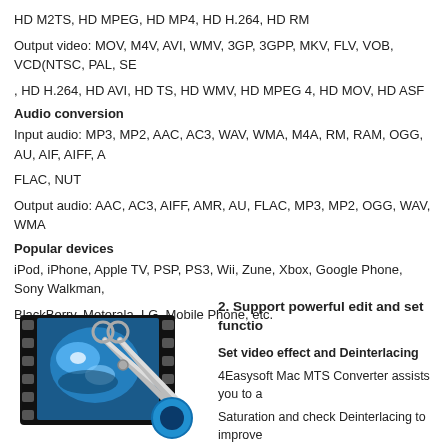HD M2TS, HD MPEG, HD MP4, HD H.264, HD RM
Output video: MOV, M4V, AVI, WMV, 3GP, 3GPP, MKV, FLV, VOB, VCD(NTSC, PAL, SE
, HD H.264, HD AVI, HD TS, HD WMV, HD MPEG 4, HD MOV, HD ASF
Audio conversion
Input audio: MP3, MP2, AAC, AC3, WAV, WMA, M4A, RM, RAM, OGG, AU, AIF, AIFF, A
FLAC, NUT
Output audio: AAC, AC3, AIFF, AMR, AU, FLAC, MP3, MP2, OGG, WAV, WMA
Popular devices
iPod, iPhone, Apple TV, PSP, PS3, Wii, Zune, Xbox, Google Phone, Sony Walkman,
BlackBerry, Motorala, LG, Mobile Phone, etc.
[Figure (illustration): Film strip with scissors and a blue circular icon, representing video editing software]
2. Support powerful edit and set functio
Set video effect and Deinterlacing
4Easysoft Mac MTS Converter assists you to a
Saturation and check Deinterlacing to improve
technology - eliminate some jaggedness from t
Watermark function to make your video spe
With this mac MTS vidoe converter, you can ea
your videos, and adjust the size, the location a
Allows you to add subtitles and select audi
Users can choose the subtitles needed and the